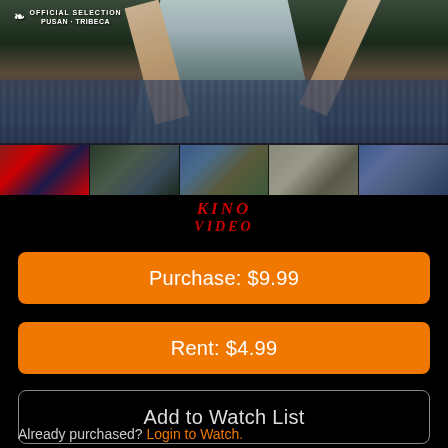[Figure (photo): Movie promotional image showing gymnast/dancer on stage with 'Official Selection Pusan - Tribeca' laurel wreath badge, and a strip of 5 scene photos below showing North Korean flag, soldier, mass games, school children, and performers]
[Figure (logo): Kino Video logo in red italic serif text]
Purchase: $9.99
Rent: $4.99
Add to Watch List
Already purchased? Login to Watch.